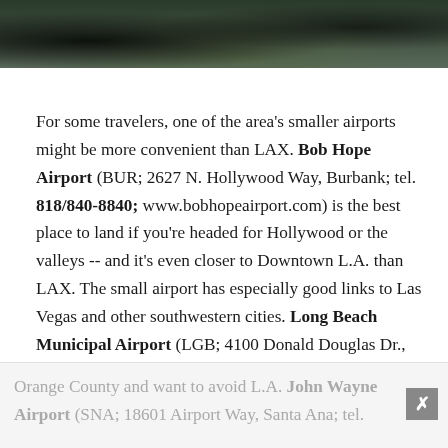[Figure (photo): Dark outdoor photograph showing trees or forest vegetation against a dark background, top portion of page]
For some travelers, one of the area's smaller airports might be more convenient than LAX. Bob Hope Airport (BUR; 2627 N. Hollywood Way, Burbank; tel. 818/840-8840; www.bobhopeairport.com) is the best place to land if you're headed for Hollywood or the valleys -- and it's even closer to Downtown L.A. than LAX. The small airport has especially good links to Las Vegas and other southwestern cities. Long Beach Municipal Airport (LGB; 4100 Donald Douglas Dr., Long Beach; tel. 562/570-2600; www.lgb.org ), south of LAX, is the best place to land if you're visiting Long Beach or northern
Orange County and want to avoid L.A. John Wayne Airport (SNA; 18601 Airport Way, Santa Ana; tel.